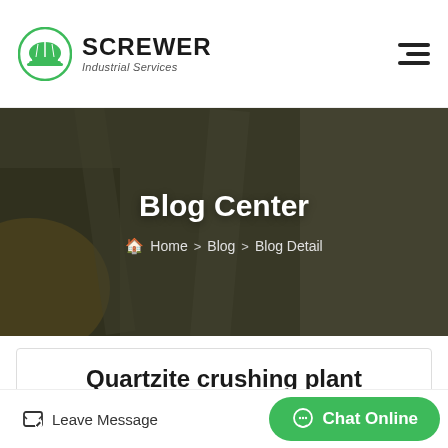[Figure (logo): Screwer Industrial Services logo with green helmet icon and bold brand name]
[Figure (photo): Hero banner with blurred industrial/mining background, title 'Blog Center' and breadcrumb navigation]
Quartzite crushing plant
Portable jaw crusher plant. Portable vsi crusher plant. PG four roller crusher. Double smooth roller crusher. Tell Us
Leave Message
Chat Online